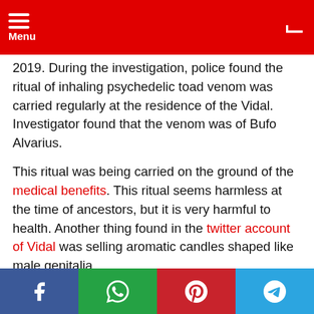Menu
2019. During the investigation, police found the ritual of inhaling psychedelic toad venom was carried regularly at the residence of the Vidal. Investigator found that the venom was of Bufo Alvarius.
This ritual was being carried on the ground of the medical benefits. This ritual seems harmless at the time of ancestors, but it is very harmful to health. Another thing found in the twitter account of Vidal was selling aromatic candles shaped like male genitalia.
All this raised a question against the Vidal. He used to promote the use of the drug, this state that is was in favor of
f  WhatsApp  Pinterest  Telegram